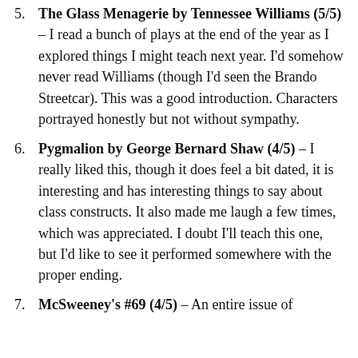5. The Glass Menagerie by Tennessee Williams (5/5) – I read a bunch of plays at the end of the year as I explored things I might teach next year. I'd somehow never read Williams (though I'd seen the Brando Streetcar). This was a good introduction. Characters portrayed honestly but not without sympathy.
6. Pygmalion by George Bernard Shaw (4/5) – I really liked this, though it does feel a bit dated, it is interesting and has interesting things to say about class constructs. It also made me laugh a few times, which was appreciated. I doubt I'll teach this one, but I'd like to see it performed somewhere with the proper ending.
7. McSweeney's #69 (4/5) – An entire issue of